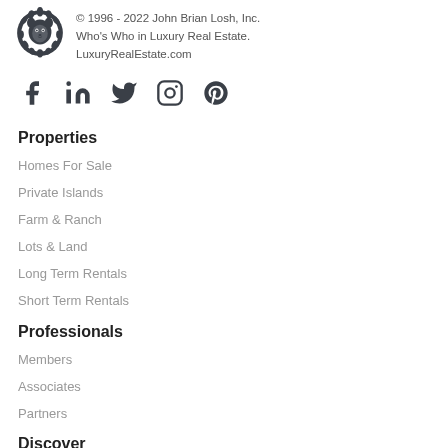© 1996 - 2022 John Brian Losh, Inc. Who's Who in Luxury Real Estate. LuxuryRealEstate.com
[Figure (infographic): Social media icons: Facebook, LinkedIn, Twitter, Instagram, Pinterest]
Properties
Homes For Sale
Private Islands
Farm & Ranch
Lots & Land
Long Term Rentals
Short Term Rentals
Professionals
Members
Associates
Partners
Discover
Destinations